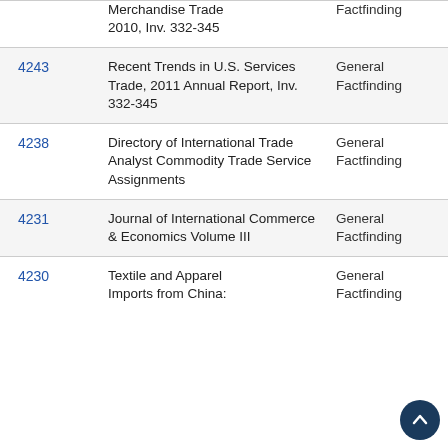| Publication Number | Title | Type |
| --- | --- | --- |
|  | Merchandise Trade 2010, Inv. 332-345 | Factfinding |
| 4243 | Recent Trends in U.S. Services Trade, 2011 Annual Report, Inv. 332-345 | General Factfinding |
| 4238 | Directory of International Trade Analyst Commodity Trade Service Assignments | General Factfinding |
| 4231 | Journal of International Commerce & Economics Volume III | General Factfinding |
| 4230 | Textile and Apparel Imports from China: | General Factfinding |